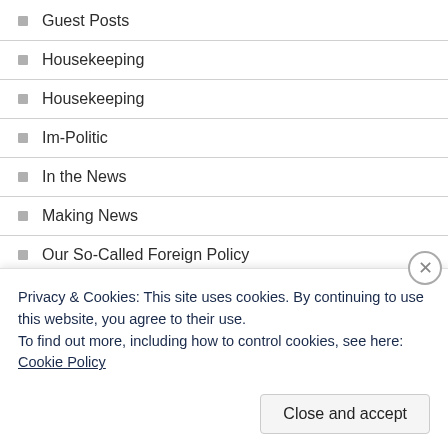Guest Posts
Housekeeping
Housekeeping
Im-Politic
In the News
Making News
Our So-Called Foreign Policy
The Snide World of Sports
Those Stubborn Facts
Uncategorized
Privacy & Cookies: This site uses cookies. By continuing to use this website, you agree to their use.
To find out more, including how to control cookies, see here: Cookie Policy
Close and accept